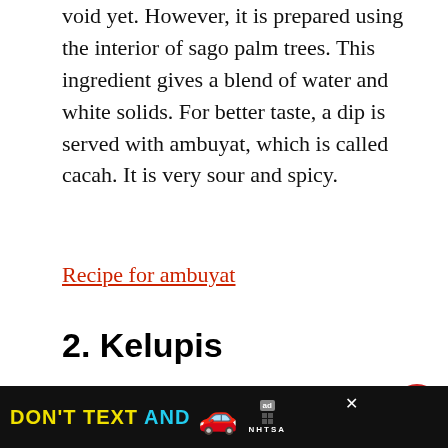void yet. However, it is prepared using the interior of sago palm trees. This ingredient gives a blend of water and white solids. For better taste, a dip is served with ambuyat, which is called cacah. It is very sour and spicy.
Recipe for ambuyat
2. Kelupis
Kelupis is a tasty snack. For preparing this food, the rice is cooked in different ingredients like coconut milk and pandan leaves. Afterward, it is wrapped in the leaves of Daun nyirik. The rolls are further steamed and hanged to removed excess water.
[Figure (infographic): Advertisement banner at the bottom: black background with yellow text DON'T TEXT AND in cyan, a red car emoji, ad badge and NHTSA logo. Close X button visible.]